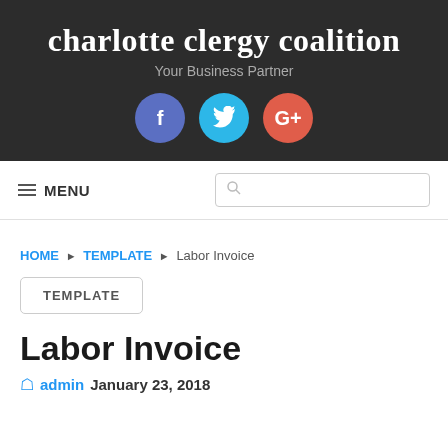charlotte clergy coalition
Your Business Partner
[Figure (illustration): Three social media icons: Facebook (blue), Twitter (cyan), Google+ (red-orange)]
≡ MENU
HOME ▶ TEMPLATE ▶ Labor Invoice
TEMPLATE
Labor Invoice
admin   January 23, 2018